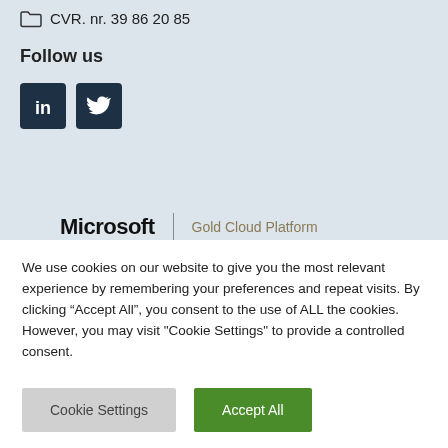CVR. nr. 39 86 20 85
Follow us
[Figure (illustration): LinkedIn and Twitter social media icon buttons (dark navy square icons)]
[Figure (logo): Microsoft | Gold Cloud Platform logo/badge]
We use cookies on our website to give you the most relevant experience by remembering your preferences and repeat visits. By clicking “Accept All”, you consent to the use of ALL the cookies. However, you may visit "Cookie Settings" to provide a controlled consent.
Cookie Settings   Accept All